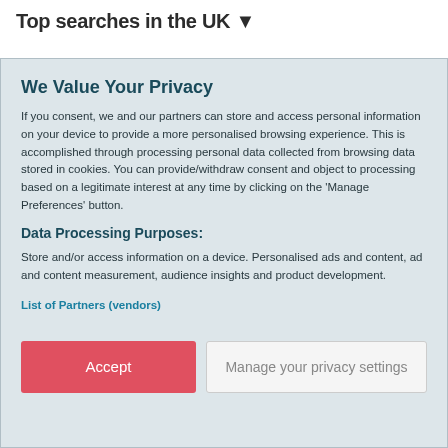Top searches in the UK ▼
We Value Your Privacy
If you consent, we and our partners can store and access personal information on your device to provide a more personalised browsing experience. This is accomplished through processing personal data collected from browsing data stored in cookies. You can provide/withdraw consent and object to processing based on a legitimate interest at any time by clicking on the 'Manage Preferences' button.
Data Processing Purposes:
Store and/or access information on a device. Personalised ads and content, ad and content measurement, audience insights and product development.
List of Partners (vendors)